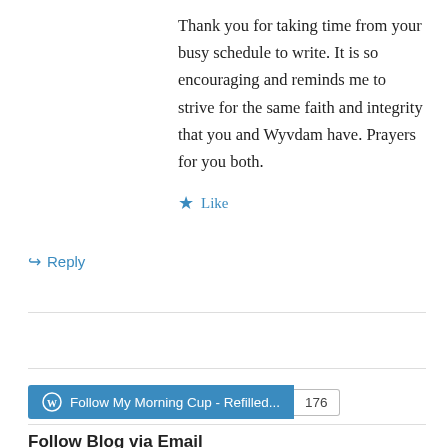Thank you for taking time from your busy schedule to write. It is so encouraging and reminds me to strive for the same faith and integrity that you and Wyvdam have. Prayers for you both.
★ Like
↳ Reply
[Figure (other): WordPress Follow button with text 'Follow My Morning Cup - Refilled...' and follower count badge showing 176]
Follow Blog via Email